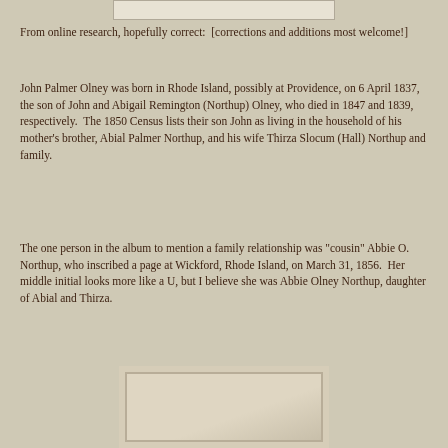[Figure (photo): Partial view of a photo or album page at top of document]
From online research, hopefully correct:  [corrections and additions most welcome!]
John Palmer Olney was born in Rhode Island, possibly at Providence, on 6 April 1837, the son of John and Abigail Remington (Northup) Olney, who died in 1847 and 1839, respectively.  The 1850 Census lists their son John as living in the household of his mother's brother, Abial Palmer Northup, and his wife Thirza Slocum (Hall) Northup and family.
The one person in the album to mention a family relationship was "cousin" Abbie O. Northup, who inscribed a page at Wickford, Rhode Island, on March 31, 1856.  Her middle initial looks more like a U, but I believe she was Abbie Olney Northup, daughter of Abial and Thirza.
[Figure (photo): Partial view of an old photograph or album page at the bottom of the document]